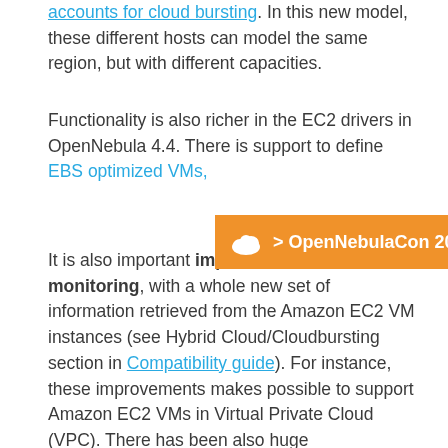accounts for cloud bursting. In this new model, these different hosts can model the same region, but with different capacities.
Functionality is also richer in the EC2 drivers in OpenNebula 4.4. There is support to define EBS optimized VMs, It is also important improvement made in monitoring, with a whole new set of information retrieved from the Amazon EC2 VM instances (see Hybrid Cloud/Cloudbursting section in Compatibility guide). For instance, these improvements makes possible to support Amazon EC2 VMs in Virtual Private Cloud (VPC). There has been also huge improvements regarding monitoring performance, with information from all the VMs gathered in the same call
[Figure (infographic): Orange banner with cloud icon and text '> OpenNebulaCon 2022']